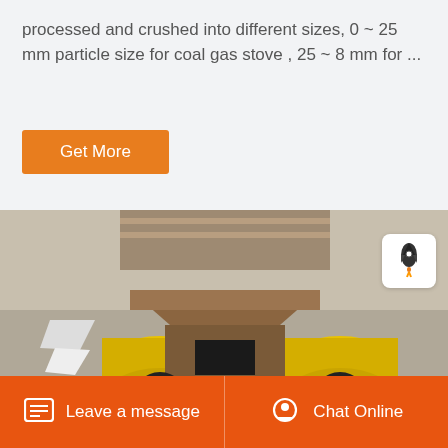processed and crushed into different sizes, 0 ~ 25 mm particle size for coal gas stove , 25 ~ 8 mm for ...
Get More
[Figure (photo): Industrial coal crusher machine with yellow cylindrical body, black wheels/gears, and a brown metal hopper on top, viewed from above-front angle outdoors.]
Leave a message   Chat Online